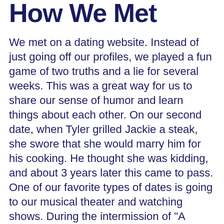How We Met
We met on a dating website. Instead of just going off our profiles, we played a fun game of two truths and a lie for several weeks. This was a great way for us to share our sense of humor and learn things about each other. On our second date, when Tyler grilled Jackie a steak, she swore that she would marry him for his cooking. He thought she was kidding, and about 3 years later this came to pass. One of our favorite types of dates is going to our musical theater and watching shows. During the intermission of "A Christmas Carol", Tyler asked someone to take their picture, but instead of standing side by side he got down on one knee and proposed. Jackie does not really remember the second half of that show. We had our wedding less